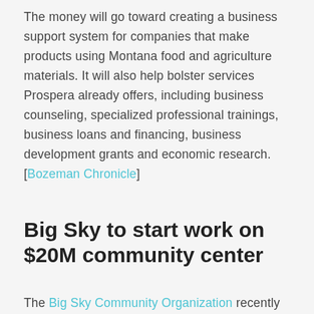The money will go toward creating a business support system for companies that make products using Montana food and agriculture materials. It will also help bolster services Prospera already offers, including business counseling, specialized professional trainings, business loans and financing, business development grants and economic research. [Bozeman Chronicle]
Big Sky to start work on $20M community center
The Big Sky Community Organization recently